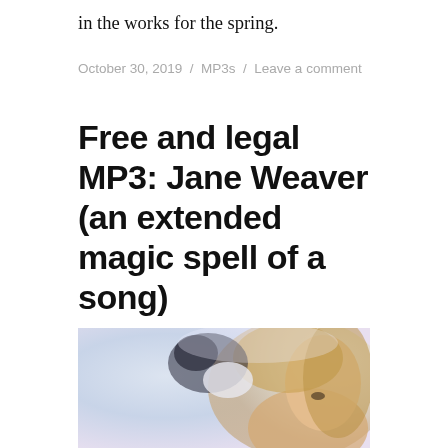in the works for the spring.
October 30, 2019 / MP3s / Leave a comment
Free and legal MP3: Jane Weaver (an extended magic spell of a song)
The wondrous, hypnotic “Modern Kosmology” rolls over the psyche like an extended magic spell.
[Figure (illustration): Illustrated portrait of a woman with long blonde hair, partially visible, painted style with soft pastel background colors of lavender, blue, and warm tones]